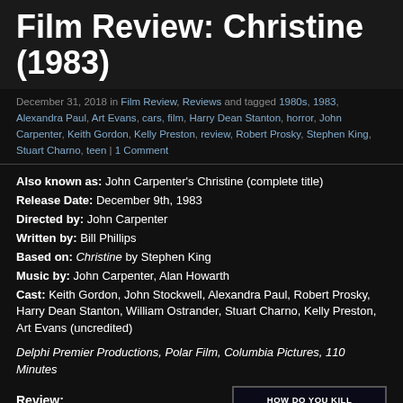Film Review: Christine (1983)
December 31, 2018 in Film Review, Reviews and tagged 1980s, 1983, Alexandra Paul, Art Evans, cars, film, Harry Dean Stanton, horror, John Carpenter, Keith Gordon, Kelly Preston, review, Robert Prosky, Stephen King, Stuart Charno, teen | 1 Comment
Also known as: John Carpenter's Christine (complete title)
Release Date: December 9th, 1983
Directed by: John Carpenter
Written by: Bill Phillips
Based on: Christine by Stephen King
Music by: John Carpenter, Alan Howarth
Cast: Keith Gordon, John Stockwell, Alexandra Paul, Robert Prosky, Harry Dean Stanton, William Ostrander, Stuart Charno, Kelly Preston, Art Evans (uncredited)
Delphi Premier Productions, Polar Film, Columbia Pictures, 110 Minutes
Review:
“Whoa, whoa. You better watch what you say about my car. She’s real
[Figure (photo): Movie poster or promotional image for Christine (1983) with tagline 'HOW DO YOU KILL SOMETHING THAT CAN'T POSSIBLY BE ALIVE?' on dark background]